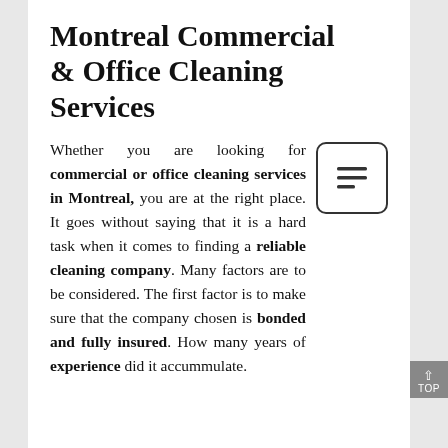Montreal Commercial & Office Cleaning Services
Whether you are looking for commercial or office cleaning services in Montreal, you are at the right place. It goes without saying that it is a hard task when it comes to finding a reliable cleaning company. Many factors are to be considered. The first factor is to make sure that the company chosen is bonded and fully insured. How many years of experience did it accummulate.